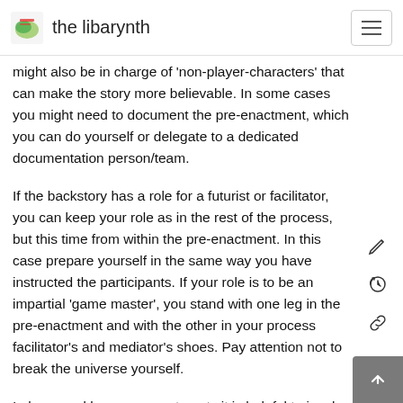the libarynth
might also be in charge of 'non-player-characters' that can make the story more believable. In some cases you might need to document the pre-enactment, which you can do yourself or delegate to a dedicated documentation person/team.
If the backstory has a role for a futurist or facilitator, you can keep your role as in the rest of the process, but this time from within the pre-enactment. In this case prepare yourself in the same way you have instructed the participants. If your role is to be an impartial 'game master', you stand with one leg in the pre-enactment and with the other in your process facilitator's and mediator's shoes. Pay attention not to break the universe yourself.
In large and long pre-enactments it is helpful to involve experienced improvisers and/or LARPers, to help keep the story alive and the universe whole.